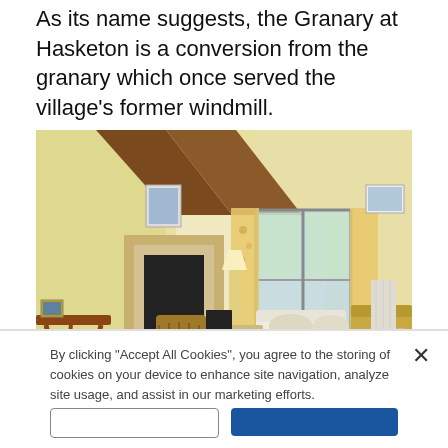As its name suggests, the Granary at Hasketon is a conversion from the granary which once served the village's former windmill.
[Figure (photo): Interior view of The Granary, Hasketon — a bright living room with exposed wooden beam on ceiling, fireplace, wicker basket, sofas, coffee table, patio doors with floral curtains, pale yellow walls, and framed pictures on walls.]
An interior view of The Granary, Hasketon Picture: RUFUS
By clicking "Accept All Cookies", you agree to the storing of cookies on your device to enhance site navigation, analyze site usage, and assist in our marketing efforts.